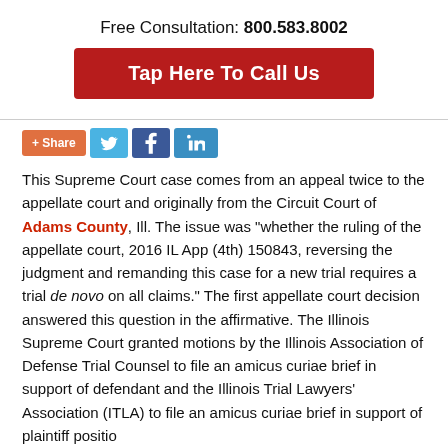Free Consultation: 800.583.8002
[Figure (other): Red button reading 'Tap Here To Call Us']
[Figure (other): Social share buttons: +Share, Twitter, Facebook, LinkedIn]
This Supreme Court case comes from an appeal twice to the appellate court and originally from the Circuit Court of Adams County, Ill. The issue was “whether the ruling of the appellate court, 2016 IL App (4th) 150843, reversing the judgment and remanding this case for a new trial requires a trial de novo on all claims.” The first appellate court decision answered this question in the affirmative. The Illinois Supreme Court granted motions by the Illinois Association of Defense Trial Counsel to file an amicus curiae brief in support of defendant and the Illinois Trial Lawyers’ Association (ITLA) to file an amicus curiae brief in support of plaintiff position.